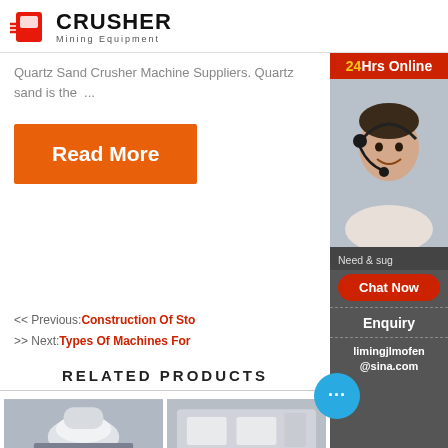CRUSHER Mining Equipment
Quartz Sand Crusher Machine Suppliers. Quartz sand is the ...
Read More
< < Previous:Construction Of Sto
> > Next:Types Of Machines For
RELATED PRODUCTS
[Figure (photo): Industrial crusher/cone machine product thumbnail]
[Figure (photo): Industrial machinery product thumbnail]
[Figure (photo): 24Hrs Online support lady with headset and chat interface sidebar]